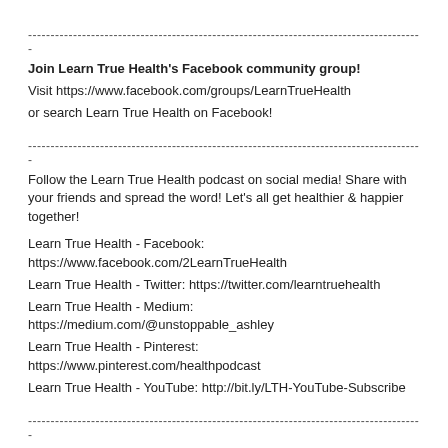--------------------------------------------------------------------------------
Join Learn True Health's Facebook community group!
Visit https://www.facebook.com/groups/LearnTrueHealth
or search Learn True Health on Facebook!
--------------------------------------------------------------------------------
Follow the Learn True Health podcast on social media! Share with your friends and spread the word! Let's all get healthier & happier together!

Learn True Health - Facebook: https://www.facebook.com/2LearnTrueHealth
Learn True Health - Twitter: https://twitter.com/learntruehealth
Learn True Health - Medium: https://medium.com/@unstoppable_ashley
Learn True Health - Pinterest: https://www.pinterest.com/healthpodcast
Learn True Health - YouTube: http://bit.ly/LTH-YouTube-Subscribe
--------------------------------------------------------------------------------
Facebook: https://www.facebook.com/2LearnTrueHealth
Twitter: https://twitter.com/learntruehealth
Medium: https://medium.com/@unstoppable_ashley
Pinterest: https://www.pinterest.com/healthpodcast
YouTube: http://bit.ly/LTH-YouTube-Subscribe